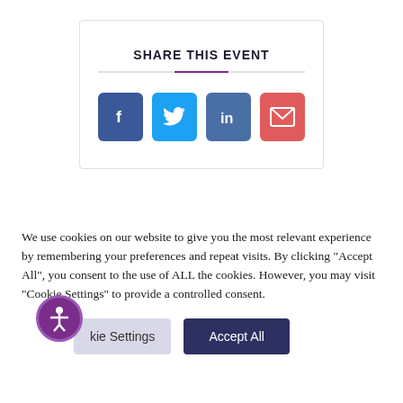SHARE THIS EVENT
[Figure (infographic): Four social sharing buttons: Facebook (blue), Twitter (light blue), LinkedIn (dark blue), Email (red/coral)]
We use cookies on our website to give you the most relevant experience by remembering your preferences and repeat visits. By clicking “Accept All”, you consent to the use of ALL the cookies. However, you may visit “Cookie Settings” to provide a controlled consent.
Cookie Settings   Accept All